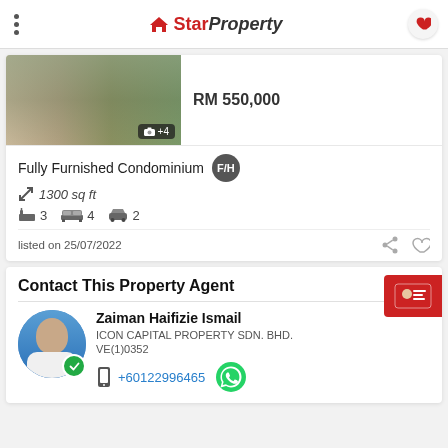StarProperty
[Figure (photo): Interior photo of a furnished condominium room with camera icon and +4 indicator]
RM 550,000
Fully Furnished Condominium F/H
1300 sq ft
3  4  2
listed on 25/07/2022
Contact This Property Agent
Zaiman Haifizie Ismail
ICON CAPITAL PROPERTY SDN. BHD.
VE(1)0352
+60122996465